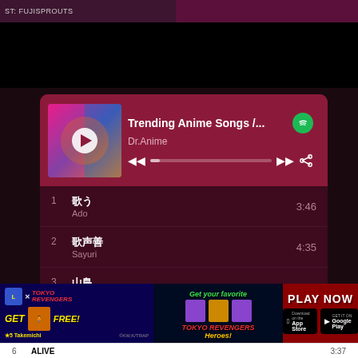ST: FUJISPROUTS
[Figure (screenshot): Spotify-style music player card showing 'Trending Anime Songs /...' playlist by Dr.Anime with album art, playback controls, and track list]
1  歌  3:46
Ado
2  歓喋境  4:35
Sayuri
3  山島  3:57
Ado
4  雨冒  2:52
[Figure (advertisement): Tokyo Revengers game advertisement with 'GET FREE', 'Get your favorite heroes', 'PLAY NOW', App Store and Google Play badges]
| # | Title | Duration |
| --- | --- | --- |
| 6 | ALIVE | 3:37 |